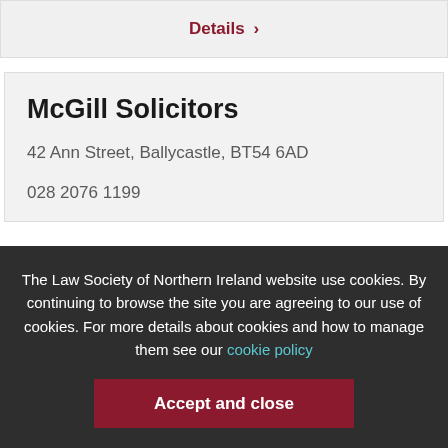Details >
McGill Solicitors
42 Ann Street, Ballycastle, BT54 6AD
028 2076 1199
The Law Society of Northern Ireland website use cookies. By continuing to browse the site you are agreeing to our use of cookies. For more details about cookies and how to manage them see our cookie policy
Accept and close